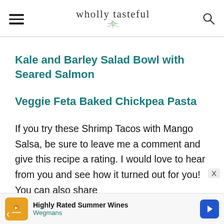wholly tasteful
Kale and Barley Salad Bowl with Seared Salmon
Veggie Feta Baked Chickpea Pasta
If you try these Shrimp Tacos with Mango Salsa, be sure to leave me a comment and give this recipe a rating. I would love to hear from you and see how it turned out for you! You can also share
[Figure (other): Advertisement banner: Highly Rated Summer Wines - Wegmans, with orange icon, play button, and blue navigation arrow]